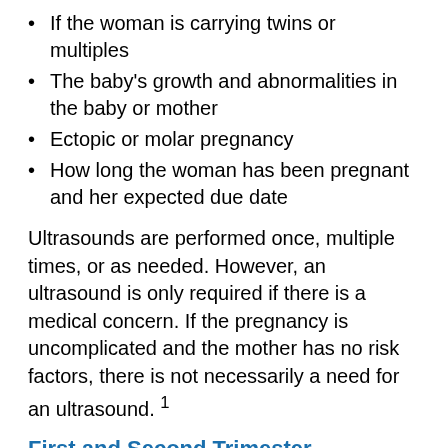If the woman is carrying twins or multiples
The baby's growth and abnormalities in the baby or mother
Ectopic or molar pregnancy
How long the woman has been pregnant and her expected due date
Ultrasounds are performed once, multiple times, or as needed. However, an ultrasound is only required if there is a medical concern. If the pregnancy is uncomplicated and the mother has no risk factors, there is not necessarily a need for an ultrasound. 1
First and Second Trimester Screening and Maternal Serum Screening